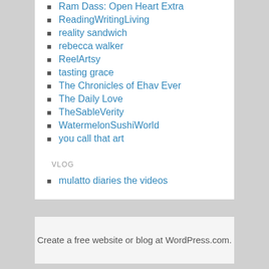Ram Dass: Open Heart Extra
ReadingWritingLiving
reality sandwich
rebecca walker
ReelArtsy
tasting grace
The Chronicles of Ehav Ever
The Daily Love
TheSableVerity
WatermelonSushiWorld
you call that art
VLOG
mulatto diaries the videos
Create a free website or blog at WordPress.com.